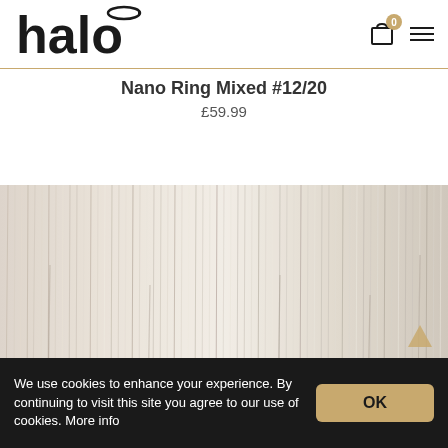[Figure (logo): Halo brand logo in bold black lowercase text with a halo ring above the letter 'o']
Nano Ring Mixed #12/20
£59.99
[Figure (photo): Close-up photo of blonde/platinum hair extensions showing mixed #12/20 color, silky and straight strands]
We use cookies to enhance your experience. By continuing to visit this site you agree to our use of cookies. More info